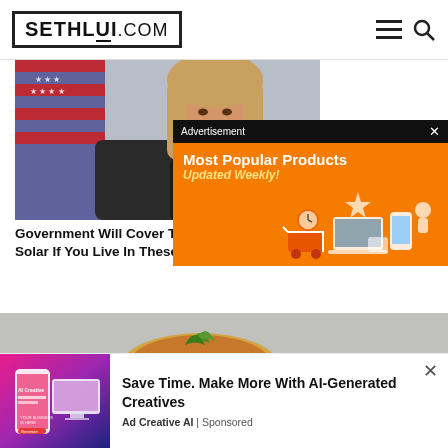SETHLUI.COM
[Figure (photo): Woman with long blonde hair sitting at a desk with an American flag in background, speaking into a microphone]
Government Will Cover The Cost of Solar If You Live In These...
[Figure (photo): Food photo - fish or salmon dish with green garnish on grey background]
[Figure (infographic): Advertisement overlay: Most Popular Products Updated Weekly! Orange background with product icons]
[Figure (screenshot): Bottom ad: AI creative tool interface on mobile and desktop, pink/purple gradient]
Save Time. Make More With AI-Generated Creatives
Ad Creative AI | Sponsored